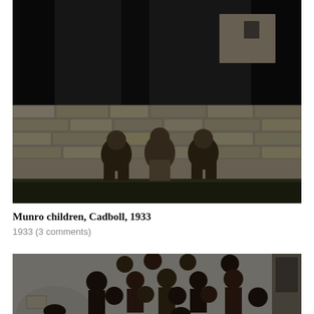[Figure (photo): Black and white photograph of three children sitting against a stone wall. There are trees and a stone building visible in the background. The children appear to be dressed in 1930s era clothing.]
Munro children, Cadboll, 1933
1933 (3 comments)
[Figure (photo): Black and white photograph of a group of children posing together, partially cropped. Several rows of children are visible, dressed in 1930s era clothing. The image is cut off at the bottom.]